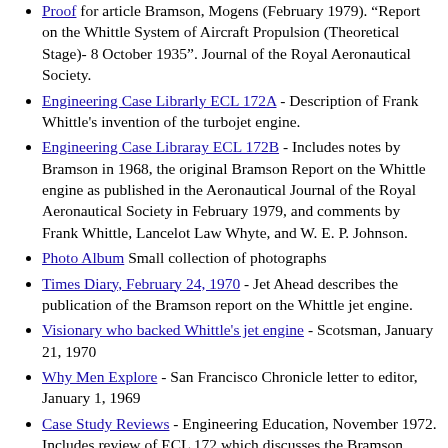Proof for article Bramson, Mogens (February 1979). "Report on the Whittle System of Aircraft Propulsion (Theoretical Stage)- 8 October 1935". Journal of the Royal Aeronautical Society.
Engineering Case Librarly ECL 172A - Description of Frank Whittle's invention of the turbojet engine.
Engineering Case Libraray ECL 172B - Includes notes by Bramson in 1968, the original Bramson Report on the Whittle engine as published in the Aeronautical Journal of the Royal Aeronautical Society in February 1979, and comments by Frank Whittle, Lancelot Law Whyte, and W. E. P. Johnson.
Photo Album Small collection of photographs
Times Diary, February 24, 1970 - Jet Ahead describes the publication of the Bramson report on the Whittle jet engine.
Visionary who backed Whittle's jet engine - Scotsman, January 21, 1970
Why Men Explore - San Francisco Chronicle letter to editor, January 1, 1969
Case Study Reviews - Engineering Education, November 1972. Includes review of ECL 172 which discusses the Bramson report on the Whittle engine.
The Goddard Award for Eminent Achievement in Energy Conversion, 1965. Awarded to Sir Frank Whittle for imagination, skill, persistence, and courage in pioneering the gas turbine as a jet propulsion aircraft engine, thus